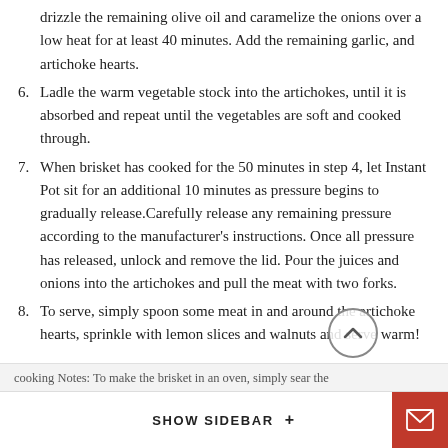(continuation) drizzle the remaining olive oil and caramelize the onions over a low heat for at least 40 minutes. Add the remaining garlic, and artichoke hearts.
6. Ladle the warm vegetable stock into the artichokes, until it is absorbed and repeat until the vegetables are soft and cooked through.
7. When brisket has cooked for the 50 minutes in step 4, let Instant Pot sit for an additional 10 minutes as pressure begins to gradually release.Carefully release any remaining pressure according to the manufacturer's instructions. Once all pressure has released, unlock and remove the lid. Pour the juices and onions into the artichokes and pull the meat with two forks.
8. To serve, simply spoon some meat in and around the artichoke hearts, sprinkle with lemon slices and walnuts and serve warm!
SHOW SIDEBAR +
cooking Notes: To make the brisket in an oven, simply sear the...